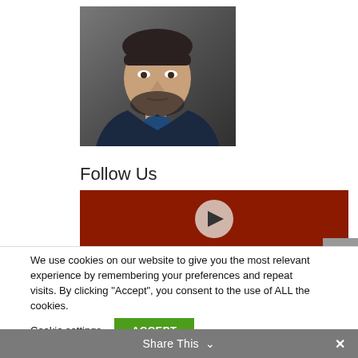[Figure (photo): Headshot photo of a man with short dark hair and beard, wearing a dark navy blazer over a blue shirt, against a grey background]
Follow Us
[Figure (other): YouTube channel banner — dark red background with a white circular play button in the center]
We use cookies on our website to give you the most relevant experience by remembering your preferences and repeat visits. By clicking “Accept”, you consent to the use of ALL the cookies.
Cookie settings
ACCEPT
Share This